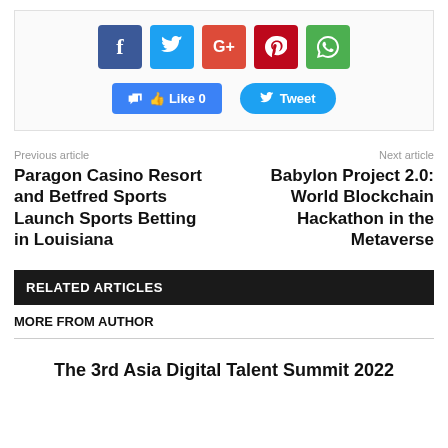[Figure (infographic): Social media share buttons: Facebook, Twitter, Google+, Pinterest, WhatsApp icons, and Like/Tweet action buttons]
Previous article
Next article
Paragon Casino Resort and Betfred Sports Launch Sports Betting in Louisiana
Babylon Project 2.0: World Blockchain Hackathon in the Metaverse
RELATED ARTICLES
MORE FROM AUTHOR
The 3rd Asia Digital Talent Summit 2022